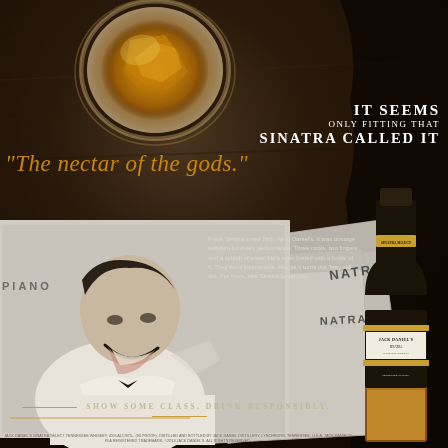[Figure (photo): Jack Daniel's Sinatra Select whiskey advertisement. Dark wood background. Top: overhead view of whiskey glass with ice and amber liquid. Middle: scattered album covers and papers with text 'PIANO' and 'NATRA'. Black and white photo of Frank Sinatra laughing, wearing white shirt and black bow tie. Right side: Jack Daniel's Sinatra Select Tennessee Whiskey bottle.]
IT SEEMS ONLY FITTING THAT SINATRA CALLED IT
"The nectar of the gods."
Frank Sinatra loved Jack. As in Daniel's. It was onstage with him for every performance. Three rocks, two fingers and a splash of water. He's even buried with a bottle of it. They were inseparable. And as it turns out, they still are. For more, visit SinatraSelect.com.
SHOW SOME CLASS. DRINK RESPONSIBLY.
JACK DANIEL'S SINATRA SELECT TENNESSEE WHISKEY, 45% ALC/VOL. (90 PROOF). DISTILLED AND BOTTLED BY JACK DANIEL DISTILLERY, LYNCHBURG, TENNESSEE, U.S.A. JACK DANIEL'S IS A REGISTERED TRADEMARK. ©2013 JACK DANIEL'S. ALL RIGHTS RESERVED.